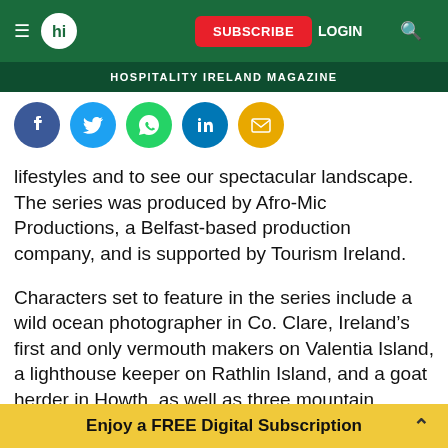[Figure (screenshot): Website navigation bar with hamburger menu, hi logo, Subscribe button, Login link, and search icon on dark green background]
HOSPITALITY IRELAND MAGAZINE
[Figure (infographic): Social media sharing icons: Facebook, Twitter, WhatsApp, LinkedIn, Email]
lifestyles and to see our spectacular landscape. The series was produced by Afro-Mic Productions, a Belfast-based production company, and is supported by Tourism Ireland.
Characters set to feature in the series include a wild ocean photographer in Co. Clare, Ireland’s first and only vermouth makers on Valentia Island, a lighthouse keeper on Rathlin Island, and a goat herder in Howth, as well as three mountain climbers - all over
Enjoy a FREE Digital Subscription